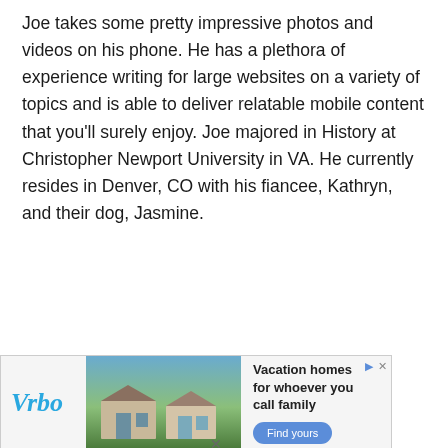Joe takes some pretty impressive photos and videos on his phone. He has a plethora of experience writing for large websites on a variety of topics and is able to deliver relatable mobile content that you'll surely enjoy. Joe majored in History at Christopher Newport University in VA. He currently resides in Denver, CO with his fiancee, Kathryn, and their dog, Jasmine.
Post Comment
[Figure (infographic): Vrbo advertisement banner showing a mountain vacation home with text 'Vacation homes for whoever you call family' and a 'Find yours' button]